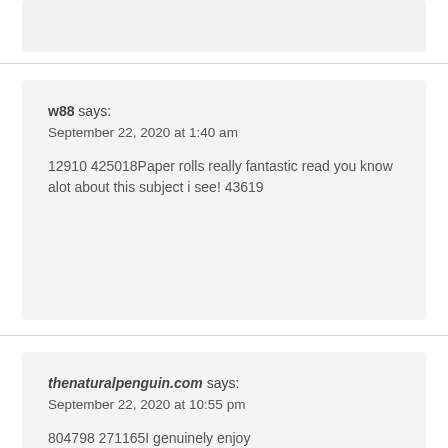w88 says:
September 22, 2020 at 1:40 am

12910 425018Paper rolls really fantastic read you know alot about this subject i see! 43619
thenaturalpenguin.com says:
September 22, 2020 at 10:55 pm

804798 271165I genuinely enjoy